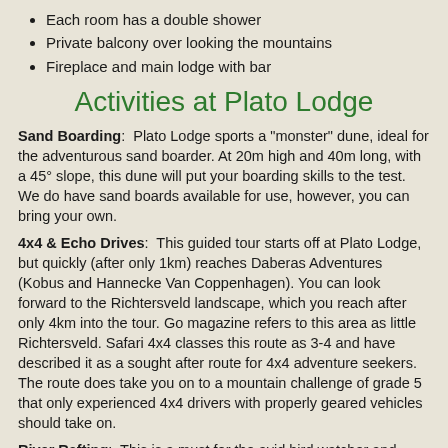Each room has a double shower
Private balcony over looking the mountains
Fireplace and main lodge with bar
Activities at Plato Lodge
Sand Boarding:  Plato Lodge sports a "monster" dune, ideal for the adventurous sand boarder. At 20m high and 40m long, with a 45° slope, this dune will put your boarding skills to the test. We do have sand boards available for use, however, you can bring your own.
4x4 & Echo Drives:  This guided tour starts off at Plato Lodge, but quickly (after only 1km) reaches Daberas Adventures (Kobus and Hannecke Van Coppenhagen). You can look forward to the Richtersveld landscape, which you reach after only 4km into the tour. Go magazine refers to this area as little Richtersveld. Safari 4x4 classes this route as 3-4 and have described it as a sought after route for 4x4 adventure seekers. The route does take you on to a mountain challenge of grade 5 that only experienced 4x4 drivers with properly geared vehicles should take on.
River Rafting:  This is a must for the avid bird watcher and nature lover! Paddle out on the Orange River with rich scenes of South Africa on one side and Namibia on the other. Look out for a variety of bird species including the Kingfisher, Fish Eagle, Black Eagle, Cormorants and many more. This trip is a peaceful canoe trip during which you can relax and enjoy the best that nature has to offer.
Team building & Corporate functions:  Plato Lodge offers an ideal